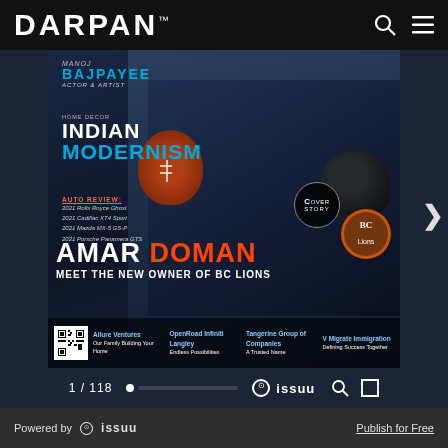DARPAN™
[Figure (screenshot): DARPAN magazine cover issue showing Amar Doman sitting in a suit holding a football with a BC Lions helmet, displayed in an Issuu digital reader. Cover features text: MANOJ BAJPAYEE ACTOR & ARTIST, HOME DECOR INDIAN MODERNISM, AUTO REVIEW: 2021 Rolls Royce Ghost, 2021 Cadillac XT4 Sport, 2021 Mazda MX-5 GS-P, 2021 Porsche Panamera GTS, AMAR DOMAN MEET THE NEW OWNER OF BC LIONS, Cover Story badge, BC Lions logo, and bottom strip with: Allure Ventures Our Family Building Your Home, OpenRoad Infiniti Langley Endless Possibilities, Tangerine Group of Companies A Trusted Name, V Migrate Immigration Defining Success Together]
1 / 118  issuu  Powered by issuu  Publish for Free